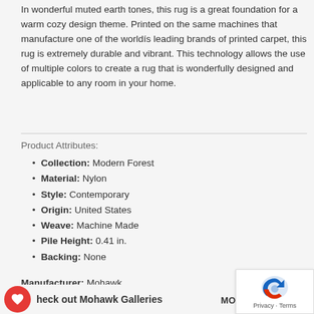In wonderful muted earth tones, this rug is a great foundation for a warm cozy design theme. Printed on the same machines that manufacture one of the worldís leading brands of printed carpet, this rug is extremely durable and vibrant. This technology allows the use of multiple colors to create a rug that is wonderfully designed and applicable to any room in your home.
Product Attributes:
Collection: Modern Forest
Material: Nylon
Style: Contemporary
Origin: United States
Weave: Machine Made
Pile Height: 0.41 in.
Backing: None
Manufacturer: Mohawk
heck out Mohawk Galleries